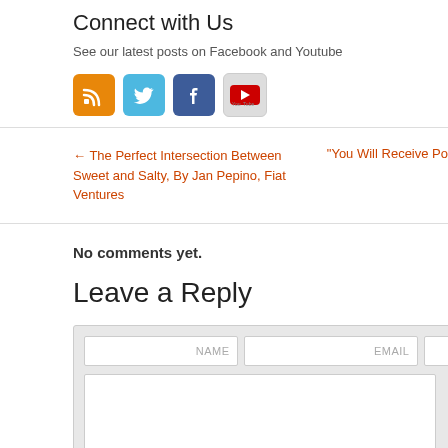Connect with Us
See our latest posts on Facebook and Youtube
[Figure (illustration): Four social media icons: RSS (orange), Twitter (blue bird), Facebook (blue f), YouTube (grey with You Tube text)]
← The Perfect Intersection Between Sweet and Salty, By Jan Pepino, Fiat Ventures
“You Will Receive Po
No comments yet.
Leave a Reply
[Figure (screenshot): Comment form with NAME, EMAIL input fields and a large text area]